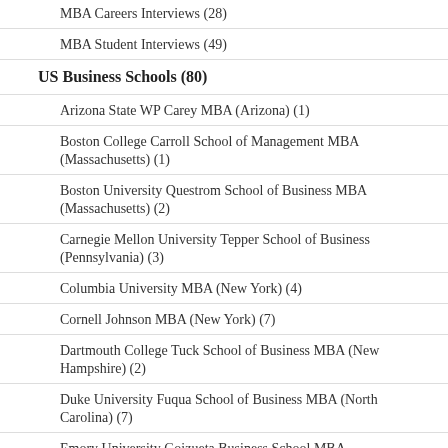MBA Careers Interviews (28)
MBA Student Interviews (49)
US Business Schools (80)
Arizona State WP Carey MBA (Arizona) (1)
Boston College Carroll School of Management MBA (Massachusetts) (1)
Boston University Questrom School of Business MBA (Massachusetts) (2)
Carnegie Mellon University Tepper School of Business (Pennsylvania) (3)
Columbia University MBA (New York) (4)
Cornell Johnson MBA (New York) (7)
Dartmouth College Tuck School of Business MBA (New Hampshire) (2)
Duke University Fuqua School of Business MBA (North Carolina) (7)
Emory University Goizueta Business School MBA